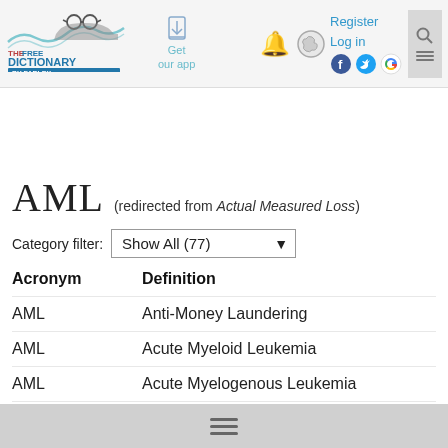[Figure (logo): The Free Dictionary by Farlex logo with glasses illustration]
AML (redirected from Actual Measured Loss)
Category filter: Show All (77)
| Acronym | Definition |
| --- | --- |
| AML | Anti-Money Laundering |
| AML | Acute Myeloid Leukemia |
| AML | Acute Myelogenous Leukemia |
| AML | Abandoned Mine Lan... |